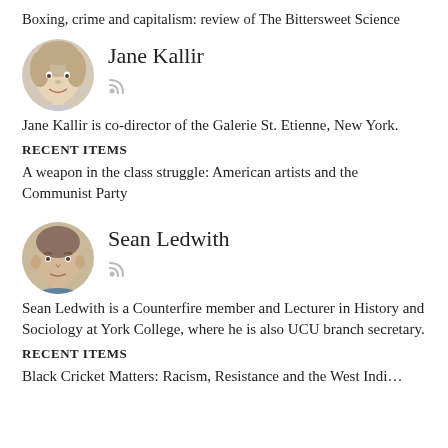Boxing, crime and capitalism: review of The Bittersweet Science
[Figure (photo): Circular portrait photo of Jane Kallir, a woman with curly light hair, smiling]
Jane Kallir
[Figure (other): RSS feed icon]
Jane Kallir is co-director of the Galerie St. Etienne, New York.
RECENT ITEMS
A weapon in the class struggle: American artists and the Communist Party
[Figure (photo): Circular portrait photo of Sean Ledwith, a man with short hair]
Sean Ledwith
[Figure (other): RSS feed icon]
Sean Ledwith is a Counterfire member and Lecturer in History and Sociology at York College, where he is also UCU branch secretary.
RECENT ITEMS
Black Cricket Matters: Racism, Resistance and the West Indi...